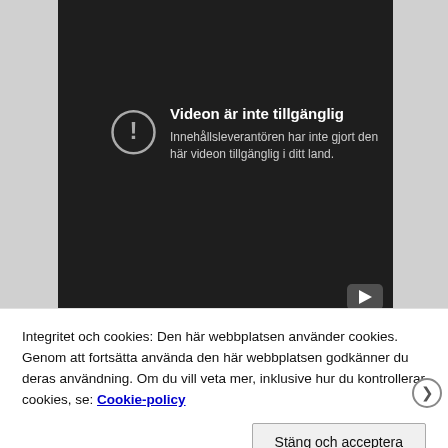[Figure (screenshot): Embedded video player with dark background showing a geo-blocked video message in Swedish: 'Videon är inte tillgänglig' with a warning/info icon circle and subtext explaining the content provider has not made the video available in this country.]
Integritet och cookies: Den här webbplatsen använder cookies. Genom att fortsätta använda den här webbplatsen godkänner du deras användning. Om du vill veta mer, inklusive hur du kontrollerar cookies, se: Cookie-policy
Stäng och acceptera